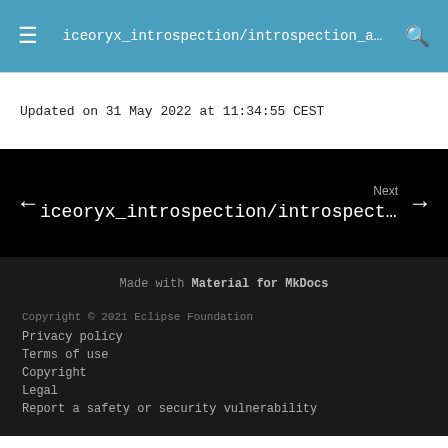iceoryx_introspection/introspection_a…
Updated on 31 May 2022 at 11:34:55 CEST
Next
iceoryx_introspection/introspection_t…
Made with Material for MkDocs
Copyright © 2021 Eclipse Foundation
Privacy policy
Terms of use
Copyright
Legal
Report a safety or security vulnerability